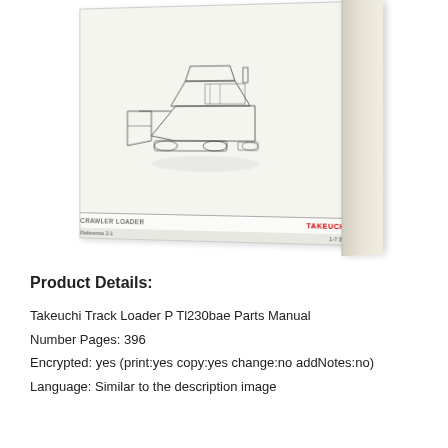[Figure (photo): 3D perspective photo of a printed parts manual book for Takeuchi Crawler Loader, showing the front cover with a line-art illustration of a crawler loader machine and the Takeuchi brand name in red. The book spine is visible on the right side.]
Product Details:
Takeuchi Track Loader P Tl230bae Parts Manual
Number Pages: 396
Encrypted: yes (print:yes copy:yes change:no addNotes:no)
Language: Similar to the description image